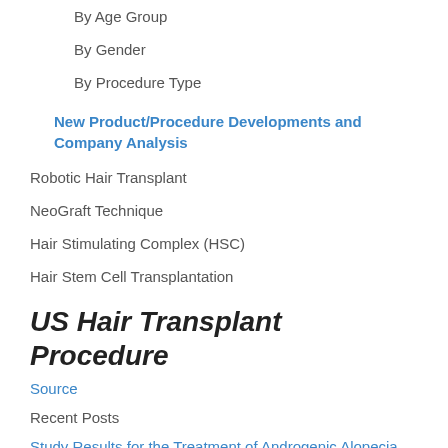By Age Group
By Gender
By Procedure Type
New Product/Procedure Developments and Company Analysis
Robotic Hair Transplant
NeoGraft Technique
Hair Stimulating Complex (HSC)
Hair Stem Cell Transplantation
US Hair Transplant Procedure
Source
Recent Posts
Study Results for the Treatment of Androgenic Alopecia
More Men Seek Out Hair Transplant Procedures
Drugs ruxolitinib and tofacitinib have interesting side effect